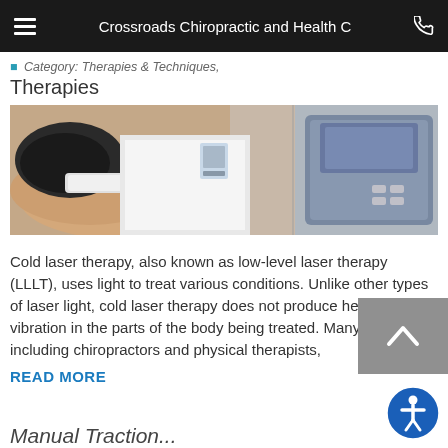Crossroads Chiropractic and Health C
Category: Therapies & Techniques, Therapies
[Figure (photo): A healthcare professional using a cold laser therapy device on a patient's arm, with a medical device/machine visible in the background.]
Cold laser therapy, also known as low-level laser therapy (LLLT), uses light to treat various conditions. Unlike other types of laser light, cold laser therapy does not produce heat or vibration in the parts of the body being treated. Many therapists, including chiropractors and physical therapists,
READ MORE